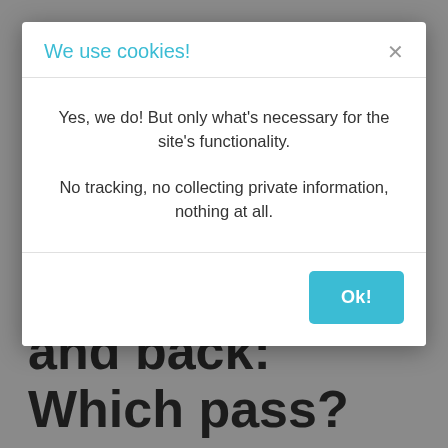We use cookies!
Yes, we do! But only what's necessary for the site's functionality.
No tracking, no collecting private information, nothing at all.
Germany to Sweden and Norway and back: Which pass?